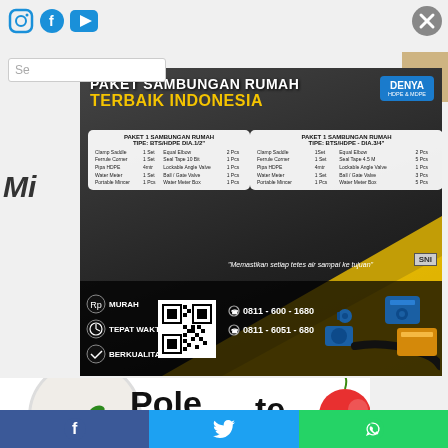[Figure (infographic): Social media icons: Instagram, Facebook, YouTube in blue]
[Figure (infographic): Close/X button in gray circle top right]
Se...
[Figure (infographic): Main advertisement: PAKET SAMBUNGAN RUMAH TERBAIK INDONESIA with DENYA HDPE branding, two package tables (PAKET 1 SAMBUNGAN RUMAH TIPE: BTS/HDPE DIA.1/2" and PAKET 1 SAMBUNGAN RUMAH TIPE: BTS/HDPE - DIA.3/4"), QR code, phone numbers 0811-600-1680 and 0811-6051-680, features MURAH, TEPAT WAKTU, BERKUALITAS, quote 'Memastikan setiap tetes air sampai ke tujuan', SNI badge]
Mi
[Figure (photo): Bottom section showing food/fruit items and Polete text with circle graphic]
[Figure (infographic): Bottom social share bar with Facebook (blue), Twitter (light blue), WhatsApp (green) icons]